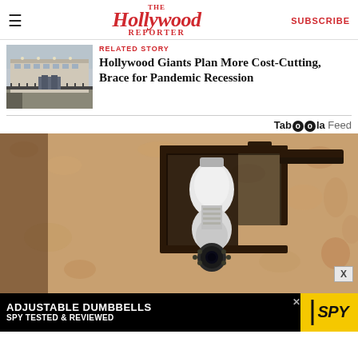The Hollywood Reporter | SUBSCRIBE
RELATED STORY
Hollywood Giants Plan More Cost-Cutting, Brace for Pandemic Recession
[Figure (photo): Outdoor wall-mounted lantern with a security camera bulb installed, against a beige stucco wall]
[Figure (photo): Advertisement banner: ADJUSTABLE DUMBBELLS SPY TESTED & REVIEWED with SPY logo on yellow background]